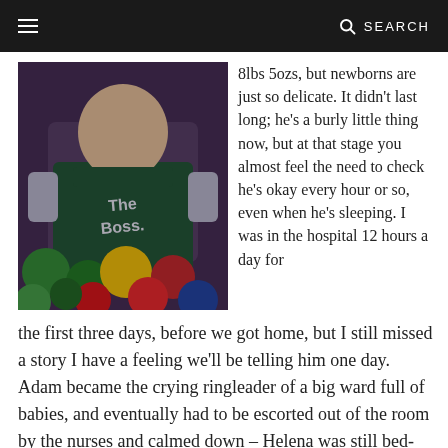≡   SEARCH
[Figure (photo): Baby sitting in a ball pit wearing a dark green 'The Boss' shirt, surrounded by colorful plastic balls (green, yellow, red, blue)]
8lbs 5ozs, but newborns are just so delicate. It didn't last long; he's a burly little thing now, but at that stage you almost feel the need to check he's okay every hour or so, even when he's sleeping. I was in the hospital 12 hours a day for the first three days, before we got home, but I still missed a story I have a feeling we'll be telling him one day. Adam became the crying ringleader of a big ward full of babies, and eventually had to be escorted out of the room by the nurses and calmed down – Helena was still bed-bound so couldn't do much herself – and after five minutes she rang